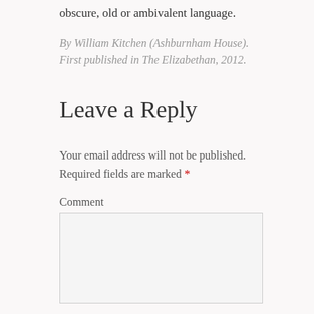obscure, old or ambivalent language.
By William Kitchen (Ashburnham House). First published in The Elizabethan, 2012.
Leave a Reply
Your email address will not be published. Required fields are marked *
Comment